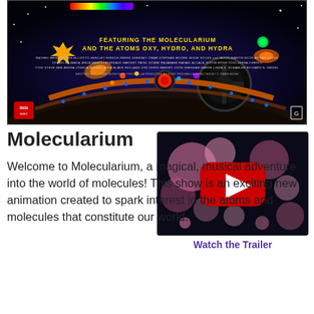[Figure (illustration): Molecularium animated film poster showing a spacecraft cockpit with colorful glowing instruments and the text 'Featuring the Molecularium and the Atoms Oxy, Hydro, and Hydra' along with film credits.]
Molecularium
[Figure (screenshot): YouTube video thumbnail showing a scene with pink flower-like molecules on a dark background, with a red YouTube play button overlay. Caption: Watch the Trailer]
Watch the Trailer
Welcome to Molecularium, a magical, musical adventure into the world of molecules! This show is an exciting new animation created to spark interest in the atoms and molecules that constitute our world.